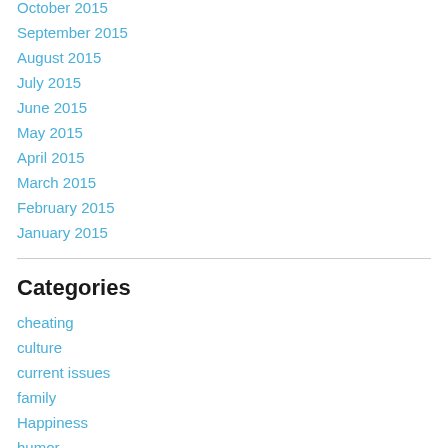October 2015
September 2015
August 2015
July 2015
June 2015
May 2015
April 2015
March 2015
February 2015
January 2015
Categories
cheating
culture
current issues
family
Happiness
humor
love